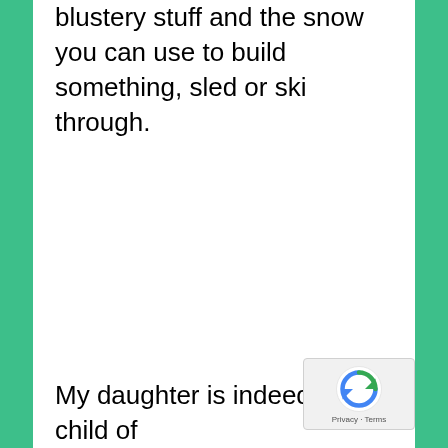blustery stuff and the snow you can use to build something, sled or ski through.
My daughter is indeed a child of